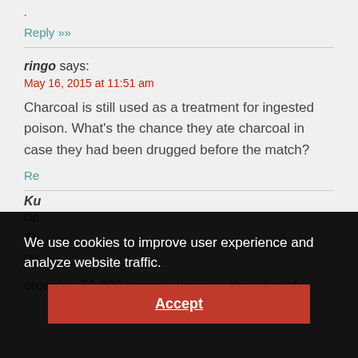.
Reply »
ringo says:
May 16, 2015 at 11:51 am
Charcoal is still used as a treatment for ingested poison. What's the chance they ate charcoal in case they had been drugged before the match?
Re…
Ku…
Oc…
Th… IN…
crowds—50,000 strong—were on the edge of
We use cookies to improve user experience and analyze website traffic.
Accept